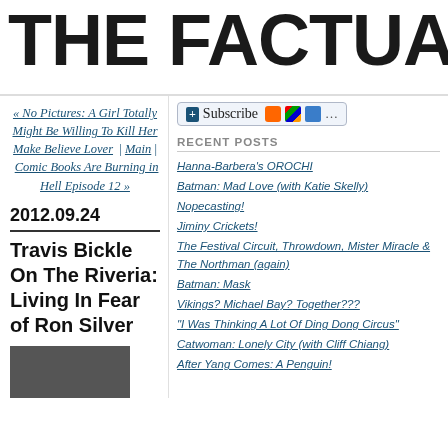THE FACTUAL O
« No Pictures: A Girl Totally Might Be Willing To Kill Her Make Believe Lover | Main | Comic Books Are Burning in Hell Episode 12 »
[Figure (infographic): Subscribe button bar with RSS, Windows, and bookmark icons]
RECENT POSTS
Hanna-Barbera's OROCHI
Batman: Mad Love (with Katie Skelly)
Nopecasting!
Jiminy Crickets!
The Festival Circuit, Throwdown, Mister Miracle & The Northman (again)
Batman: Mask
Vikings? Michael Bay? Together???
"I Was Thinking A Lot Of Ding Dong Circus"
Catwoman: Lonely City (with Cliff Chiang)
After Yang Comes: A Penguin!
2012.09.24
Travis Bickle On The Riveria: Living In Fear of Ron Silver
[Figure (photo): Small thumbnail image, dark/black tones]